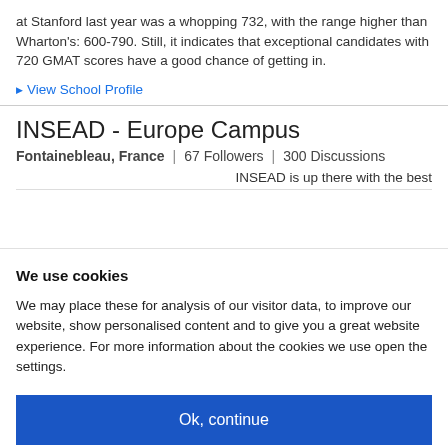at Stanford last year was a whopping 732, with the range higher than Wharton's: 600-790. Still, it indicates that exceptional candidates with 720 GMAT scores have a good chance of getting in.
View School Profile
INSEAD - Europe Campus
Fontainebleau, France | 67 Followers | 300 Discussions
INSEAD is up there with the best
We use cookies
We may place these for analysis of our visitor data, to improve our website, show personalised content and to give you a great website experience. For more information about the cookies we use open the settings.
Ok, continue
Deny
No, adjust